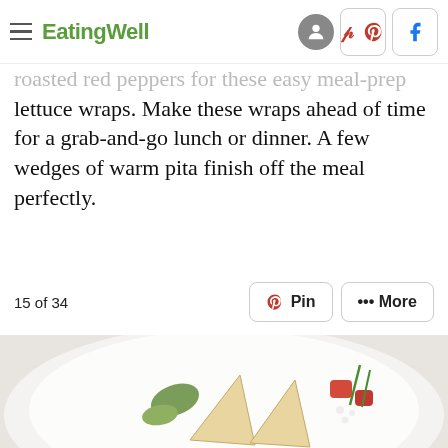EatingWell
roasted red peppers for these easy meal-prep lettuce wraps. Make these wraps ahead of time for a grab-and-go lunch or dinner. A few wedges of warm pita finish off the meal perfectly.
15 of 34
[Figure (photo): A white plate with lettuce wraps filled with vegetables including tomatoes, avocado, and crumbled cheese, garnished with green onions. Pita wedges visible on the side.]